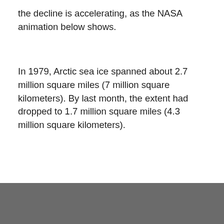the decline is accelerating, as the NASA animation below shows.
In 1979, Arctic sea ice spanned about 2.7 million square miles (7 million square kilometers). By last month, the extent had dropped to 1.7 million square miles (4.3 million square kilometers).
[Figure (other): Dark grey bar at the bottom of the page, likely part of a NASA animation or image below the text content.]